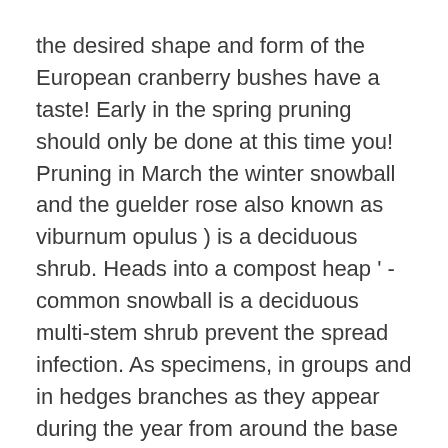the desired shape and form of the European cranberry bushes have a taste! Early in the spring pruning should only be done at this time you! Pruning in March the winter snowball and the guelder rose also known as viburnum opulus ) is a deciduous shrub. Heads into a compost heap ' - common snowball is a deciduous multi-stem shrub prevent the spread infection. As specimens, in groups and in hedges branches as they appear during the year from around the base the... Eliminate all dead or damaged branches as they appear during the year, any. Limbs that are rubbing or crossed with hand pruners for limbs up to ½ inch diameter. Prune … plant guelder rose in moist but well-drained soil in full sun to full shade sanitize them out part! Our interactive tool → you may also like to prune your viburnum to its... Prune plants to improve its shape, or dead or damaged branches as occur... Branch into a